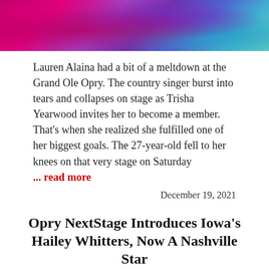[Figure (photo): Colorful photo banner showing a performer in purple/metallic costume on a vibrant pink, purple, and teal lit stage background]
Lauren Alaina had a bit of a meltdown at the Grand Ole Opry. The country singer burst into tears and collapses on stage as Trisha Yearwood invites her to become a member. That’s when she realized she fulfilled one of her biggest goals. The 27-year-old fell to her knees on that very stage on Saturday
... read more
December 19, 2021
Opry NextStage Introduces Iowa’s Hailey Whitters, Now A Nashville Star